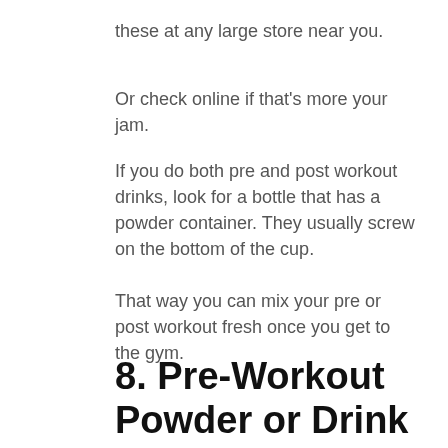these at any large store near you.
Or check online if that's more your jam.
If you do both pre and post workout drinks, look for a bottle that has a powder container. They usually screw on the bottom of the cup.
That way you can mix your pre or post workout fresh once you get to the gym.
8. Pre-Workout Powder or Drink
There's one thing a lot of people don't realize they need when working out – pre-workout. Pre-